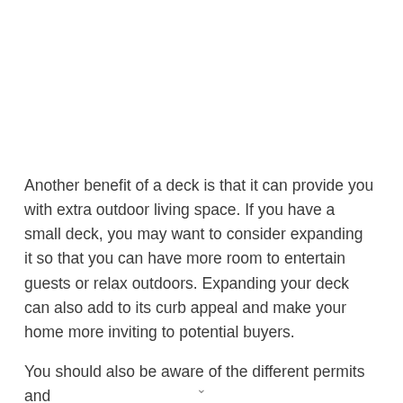Another benefit of a deck is that it can provide you with extra outdoor living space. If you have a small deck, you may want to consider expanding it so that you can have more room to entertain guests or relax outdoors. Expanding your deck can also add to its curb appeal and make your home more inviting to potential buyers.
You should also be aware of the different permits and